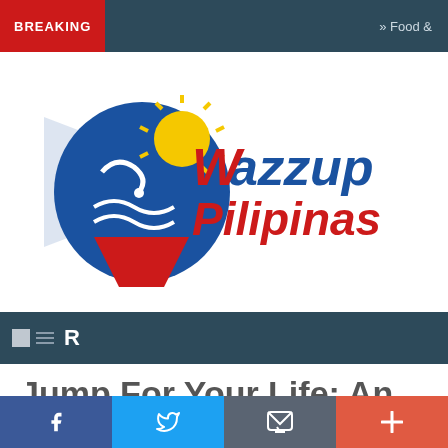BREAKING » Food &
[Figure (logo): Wazzup Pilipinas logo with Philippine flag colors — blue and red text, yellow sun, with stylized wave and flame graphic]
R
Jump For Your Life: An All Original Filipino-Made iOS Game